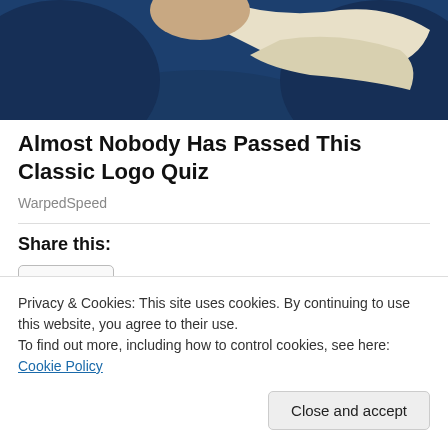[Figure (photo): Cropped photo showing a person in a dark navy blue top with a light cream/white garment or accessory draped over their shoulder]
Almost Nobody Has Passed This Classic Logo Quiz
WarpedSpeed
Share this:
Share
Like
Privacy & Cookies: This site uses cookies. By continuing to use this website, you agree to their use.
To find out more, including how to control cookies, see here: Cookie Policy
Close and accept